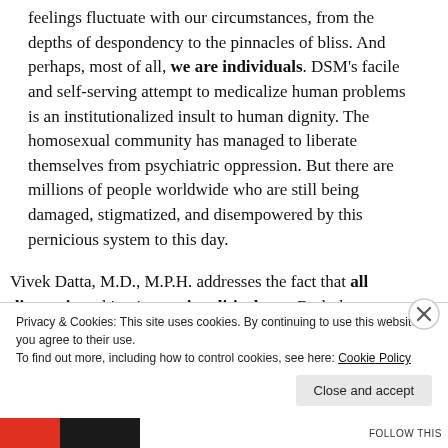feelings fluctuate with our circumstances, from the depths of despondency to the pinnacles of bliss. And perhaps, most of all, we are individuals. DSM's facile and self-serving attempt to medicalize human problems is an institutionalized insult to human dignity. The homosexual community has managed to liberate themselves from psychiatric oppression. But there are millions of people worldwide who are still being damaged, stigmatized, and disempowered by this pernicious system to this day.
Vivek Datta, M.D., M.P.H. addresses the fact that all diagnosis making is a sociopolitical act. Both the
Privacy & Cookies: This site uses cookies. By continuing to use this website, you agree to their use. To find out more, including how to control cookies, see here: Cookie Policy